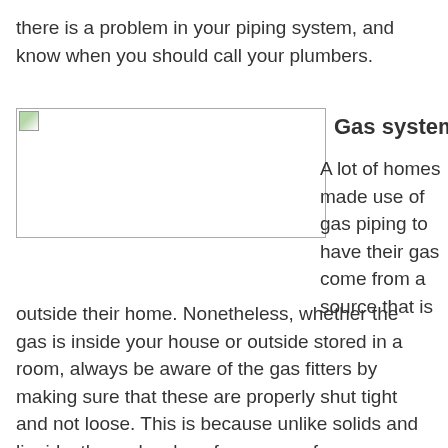there is a problem in your piping system, and know when you should call your plumbers.
[Figure (photo): Broken/missing image placeholder for gas system illustration]
Gas system
A lot of homes made use of gas piping to have their gas come from a source that is outside their home. Nonetheless, whether the gas is inside your house or outside stored in a room, always be aware of the gas fitters by making sure that these are properly shut tight and not loose. This is because unlike solids and liquids, the molecules of gases are far more apart from each other which makes them go through spaces quicker and with ease. Doing such prevents your home from being